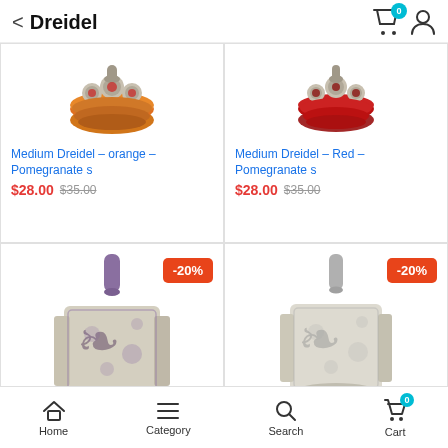Dreidel
[Figure (photo): Orange pomegranate-shaped dreidel top view, partially cropped]
Medium Dreidel – orange – Pomegranate s
$28.00 $35.00
[Figure (photo): Red pomegranate-shaped dreidel top view, partially cropped]
Medium Dreidel – Red – Pomegranate s
$28.00 $35.00
[Figure (photo): Purple and silver ornate dreidel with -20% discount badge]
[Figure (photo): Silver/gray ornate dreidel with -20% discount badge]
Home  Category  Search  Cart